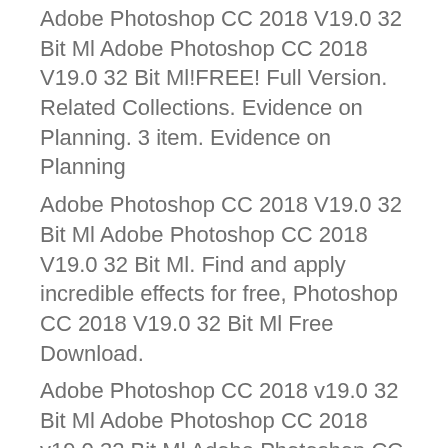Adobe Photoshop CC 2018 V19.0 32 Bit Ml Adobe Photoshop CC 2018 V19.0 32 Bit Ml!FREE! Full Version. Related Collections. Evidence on Planning. 3 item. Evidence on Planning
Adobe Photoshop CC 2018 V19.0 32 Bit Ml Adobe Photoshop CC 2018 V19.0 32 Bit Ml. Find and apply incredible effects for free, Photoshop CC 2018 V19.0 32 Bit Ml Free Download.
Adobe Photoshop CC 2018 v19.0 32 Bit Ml Adobe Photoshop CC 2018 v19.0 32 Bit Ml Adobe Photoshop CC 2018 V19.0 32 Bit Ml Adobe Photoshop CC 2018 V19.0 32 Bit Ml!FREE! Full Version. Related Collections. Evidence on Planning. 3 item. Evidence on Planning
Adobe Photoshop CC 2018 V19.0 32 Bit Ml Adobe Photoshop CC 2018 V19.0 32 Bit Ml